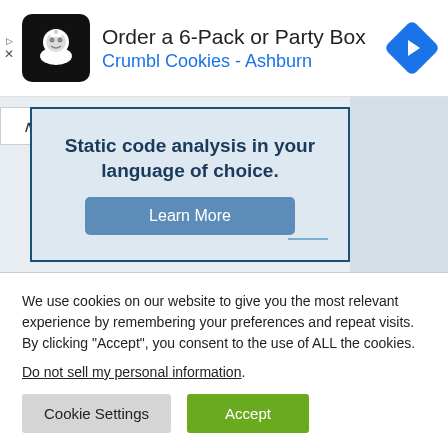[Figure (screenshot): Advertisement banner for Crumbl Cookies - Ashburn, showing a black rounded square logo with a chef/cookie icon, the text 'Order a 6-Pack or Party Box', 'Crumbl Cookies - Ashburn', a blue navigation diamond icon, and small ad attribution arrows/X symbols on the left.]
[Figure (screenshot): Second advertisement panel with light blue background and dark blue border, showing text 'Static code analysis in your language of choice.' and a blue 'Learn More' button. A toggle arrow button is visible on the left edge, and gray area on the right.]
We use cookies on our website to give you the most relevant experience by remembering your preferences and repeat visits. By clicking “Accept”, you consent to the use of ALL the cookies.
Do not sell my personal information.
[Figure (screenshot): Cookie consent buttons row: 'Cookie Settings' gray button and 'Accept' green button.]